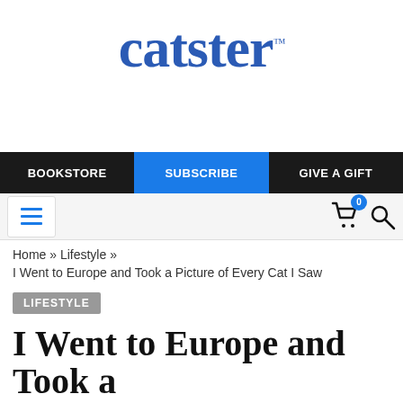catster
[Figure (other): White/blank advertisement space below the Catster logo]
BOOKSTORE | SUBSCRIBE | GIVE A GIFT
[Figure (other): Navigation bar with hamburger menu icon, shopping cart icon with badge '0', and search icon]
Home » Lifestyle »
I Went to Europe and Took a Picture of Every Cat I Saw
LIFESTYLE
I Went to Europe and Took a